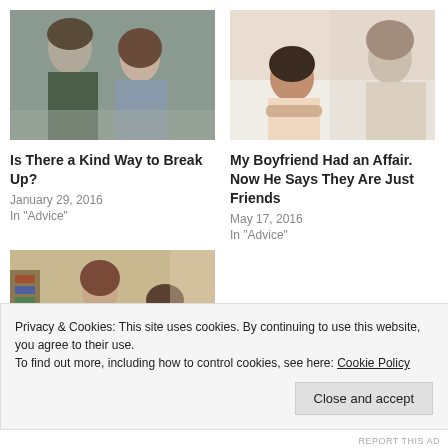[Figure (photo): Couple looking down together, man in dark green shirt, woman in striped top]
Is There a Kind Way to Break Up?
January 29, 2016
In "Advice"
[Figure (photo): Woman and man lying in bed back to back, woman looking toward camera]
My Boyfriend Had an Affair. Now He Says They Are Just Friends
May 17, 2016
In "Advice"
[Figure (photo): Woman in blue shirt standing, man seated looking up at her, interior background]
#Advice: I'm 30 and Don't
Privacy & Cookies: This site uses cookies. By continuing to use this website, you agree to their use.
To find out more, including how to control cookies, see here: Cookie Policy
Close and accept